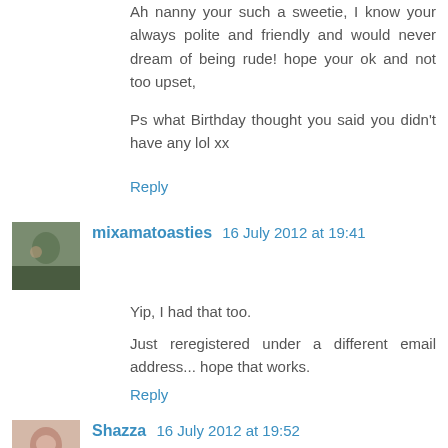Ah nanny your such a sweetie, I know your always polite and friendly and would never dream of being rude! hope your ok and not too upset,
Ps what Birthday thought you said you didn't have any lol xx
Reply
mixamatoasties 16 July 2012 at 19:41
Yip, I had that too.
Just reregistered under a different email address... hope that works.
Reply
Shazza 16 July 2012 at 19:52
pfff!! Never mind them Elaine, how rude!!! By the way, you never e-mailed me to say I didn't send you a card lol!! x